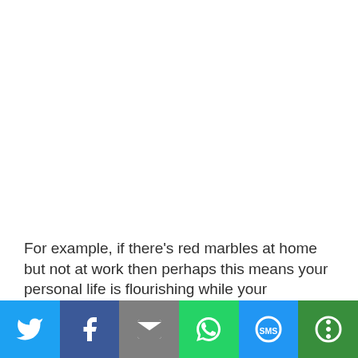For example, if there's red marbles at home but not at work then perhaps this means your personal life is flourishing while your professional life isn't doing so great. There
[Figure (screenshot): Social media share bar with icons for Twitter, Facebook, Email, WhatsApp, SMS, and More]